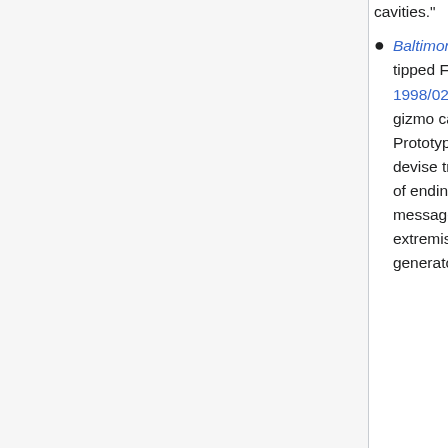cavities."
Baltimore Sun, "Maybe anthrax plot wasn't a plot at all Man who tipped FBI was in odd business deal with suspects", 1998/02/21: "[Ronald G.] Rockwell had the rights to a cure-all gizmo called the AZ-58 Ray Tube Frequency Instrument Prototype. Leavitt spent long nights in his home lab laboring to devise treatments for multiple sclerosis and AIDs and dreamed of ending drug addiction with herbs, acupuncture and subliminal messages. Even Harris took time out from racism and religious extremism to sell medical devices called "colloidal silver generators," said to